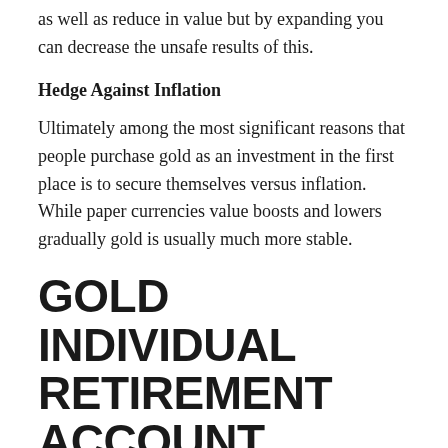as well as reduce in value but by expanding you can decrease the unsafe results of this.
Hedge Against Inflation
Ultimately among the most significant reasons that people purchase gold as an investment in the first place is to secure themselves versus inflation. While paper currencies value boosts and lowers gradually gold is usually much more stable.
GOLD INDIVIDUAL RETIREMENT ACCOUNT CARRIERS
There are a couple of firms that provide the services of gold Individual retirement accounts. Not every one of